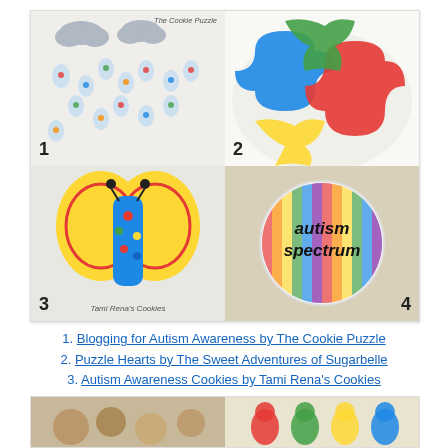[Figure (photo): A 2x2 grid collage of autism awareness decorated cookies: 1) Cloud and raindrop cookies with puzzle pieces, labeled 'The Cookie Puzzle'; 2) Colorful jigsaw puzzle piece heart cookies in blue, red, green, yellow; 3) A butterfly autism awareness ribbon cookie by Tami Rena's Cookies; 4) A round cookie with rainbow stripes reading 'autism spectrum']
1. Blogging for Autism Awareness by The Cookie Puzzle
2. Puzzle Hearts by The Sweet Adventures of Sugarbelle
3. Autism Awareness Cookies by Tami Rena's Cookies
4.Color Spectrum Cookies by Edible Canvas Creation
[Figure (photo): Bottom strip showing partial views of two more cookie images]